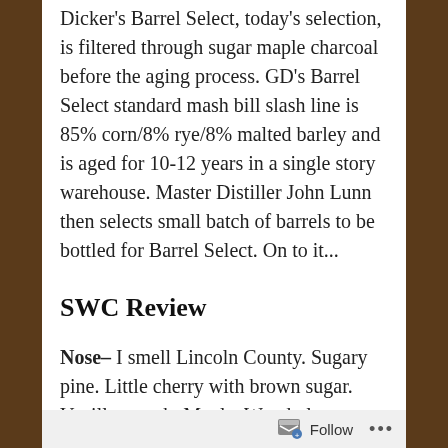Dicker's Barrel Select, today's selection, is filtered through sugar maple charcoal before the aging process. GD's Barrel Select standard mash bill slash line is 85% corn/8% rye/8% malted barley and is aged for 10-12 years in a single story warehouse. Master Distiller John Lunn then selects small batch of barrels to be bottled for Barrel Select. On to it...
SWC Review
Nose- I smell Lincoln County. Sugary pine. Little cherry with brown sugar. Vanilla, peach. Maple. Wood glue.
Taste- Good mouthfeel, black pepper. Peach.
Follow ...